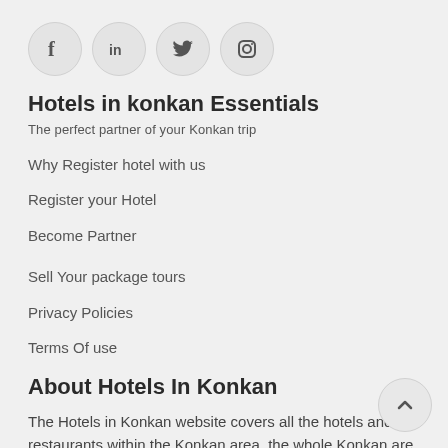[Figure (other): Social media icons: Facebook, LinkedIn, Twitter, Instagram — each in a circular button]
Hotels in konkan Essentials
The perfect partner of your Konkan trip
Why Register hotel with us
Register your Hotel
Become Partner
Sell Your package tours
Privacy Policies
Terms Of use
About Hotels In Konkan
The Hotels in Konkan website covers all the hotels and restaurants within the Konkan area. the whole Konkan are split into regions and therefore the places of stay in each region